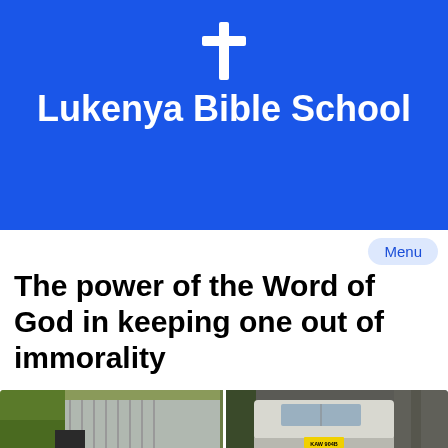[Figure (logo): Lukenya Bible School header banner with blue background, white cross icon, and school name in white bold text]
Menu
The power of the Word of God in keeping one out of immorality
[Figure (photo): Two side-by-side outdoor photographs: left shows vegetation and a corrugated metal sheet/fence area; right shows a white SUV/van with a yellow Kenyan license plate reading KAW 904B parked near trees]